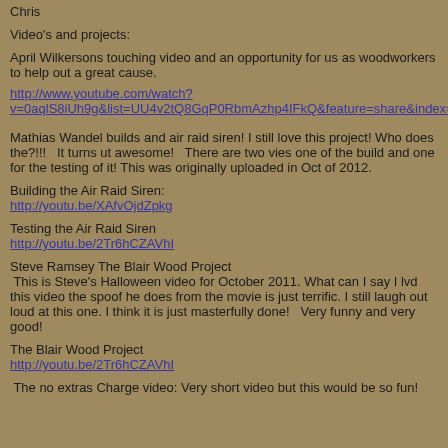Chris
Video's and projects:
April Wilkersons touching video and an opportunity for us as woodworkers to help out a great cause.
http://www.youtube.com/watch?v=0aqlS8iUh9g&list=UU4v2tQ8GqP0RbmAzhp4IFkQ&feature=share&index=3
Mathias Wandel builds and air raid siren! I still love this project! Who does the?!!!   It turns ut awesome!   There are two vies one of the build and one for the testing of it!  This was originally uploaded in Oct of 2012.
Building the Air Raid Siren:
http://youtu.be/XAfvOjdZpkg
Testing the Air Raid Siren
http://youtu.be/2Tr6hCZAVhI
Steve Ramsey The Blair Wood Project
This is Steve's Halloween video for October 2011. What can I say I lvd this video the spoof he does from the movie is just terrific. I still laugh out loud at this one. I think it is just masterfully done!   Very funny and very good!
The Blair Wood Project
http://youtu.be/2Tr6hCZAVhI
The no extras Charge video: Very short video but this would be so fun!